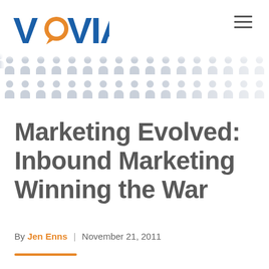[Figure (logo): Vovia logo with orange speech bubble replacing the letter O, blue bold text VOVIA]
[Figure (illustration): Decorative banner of faded grey people/person silhouette icons arranged in a grid pattern fading from dark to light left to right]
Marketing Evolved: Inbound Marketing Winning the War
By Jen Enns | November 21, 2011